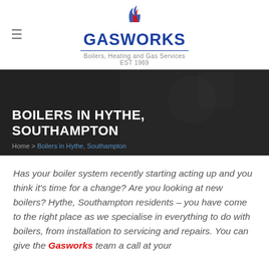[Figure (logo): Gasworks logo with flame graphic, wordmark GASWORKS in blue/red, tagline 'Boilers, Heating and Gas Services EST 1969']
BOILERS IN HYTHE, SOUTHAMPTON
Home > Boilers in Hythe, Southampton
Has your boiler system recently starting acting up and you think it's time for a change? Are you looking at new boilers? Hythe, Southampton residents – you have come to the right place as we specialise in everything to do with boilers, from installation to servicing and repairs. You can give the Gasworks team a call at your